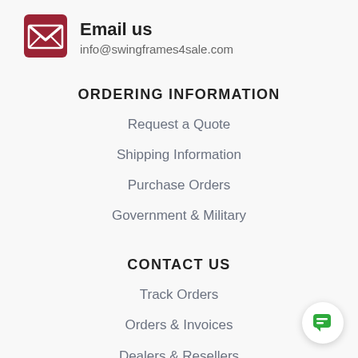[Figure (logo): Dark red envelope icon]
Email us
info@swingframes4sale.com
ORDERING INFORMATION
Request a Quote
Shipping Information
Purchase Orders
Government & Military
CONTACT US
Track Orders
Orders & Invoices
Dealers & Resellers
Return Policy
[Figure (illustration): Green chat bubble icon button in bottom right corner]